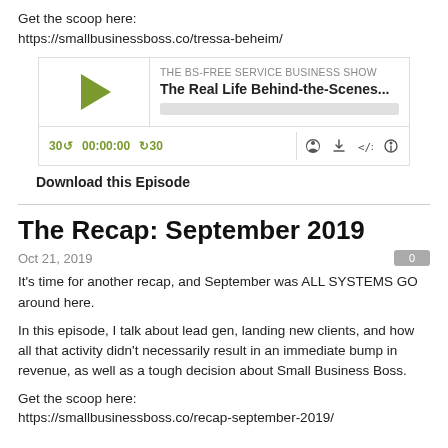Get the scoop here:
https://smallbusinessboss.co/tressa-beheim/
[Figure (screenshot): Podcast player widget for 'The BS-Free Service Business Show' episode 'The Real Life Behind-the-Scenes...' with play button, progress bar, time controls (30 back, 00:00:00, forward 30), and icons for RSS, download, embed, and share.]
Download this Episode
The Recap: September 2019
Oct 21, 2019
It's time for another recap, and September was ALL SYSTEMS GO around here.
In this episode, I talk about lead gen, landing new clients, and how all that activity didn't necessarily result in an immediate bump in revenue, as well as a tough decision about Small Business Boss.
Get the scoop here:
https://smallbusinessboss.co/recap-september-2019/